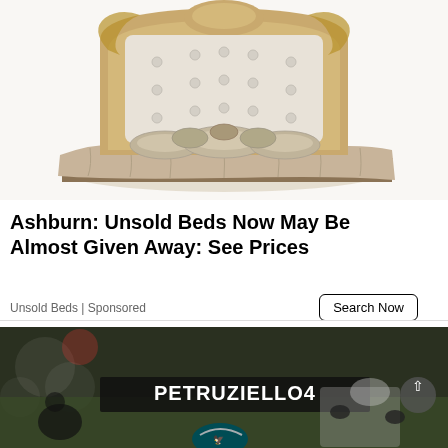[Figure (photo): Ornate baroque-style bed with heavily carved gold/silver headboard featuring scrollwork and floral motifs, white tufted upholstery, multiple decorative pillows in beige/taupe, and a long pleated beige bedspread with tassel trim at the bottom.]
Ashburn: Unsold Beds Now May Be Almost Given Away: See Prices
Unsold Beds | Sponsored
[Figure (photo): American football game action photo: players on the field, one wearing an Eagles helmet visible near bottom center, a dark banner in the background reads 'PETRUZIELLO4', bokeh lighting effects, a circular back-to-top arrow button overlay visible at far right.]